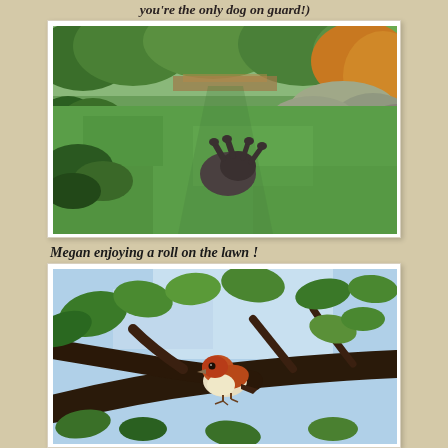you're the only dog on guard!)
[Figure (photo): A dark-colored dog rolling on its back on a green lawn in a garden, surrounded by trees and shrubs, viewed from above looking down a grass path]
Megan enjoying a roll on the lawn !
[Figure (photo): A bird with a rust/orange-red head and pale yellow-white breast perched on a tree branch, surrounded by green leaves with blue sky in background]